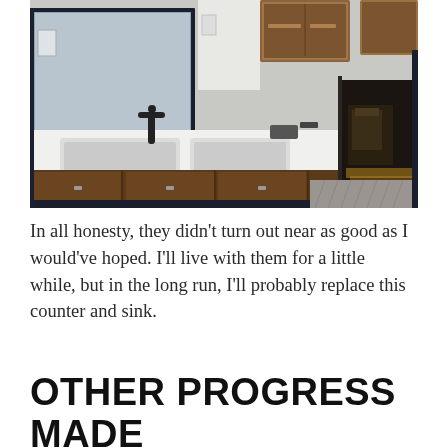[Figure (photo): Interior bathroom photo showing a white countertop with double sink and dark faucet, dark wood cabinets below, large mirror with dark frame on the left, upper wood cabinets on the upper right, and a doorway leading to a dark room on the right.]
In all honesty, they didn't turn out near as good as I would've hoped. I'll live with them for a little while, but in the long run, I'll probably replace this counter and sink.
OTHER PROGRESS MADE